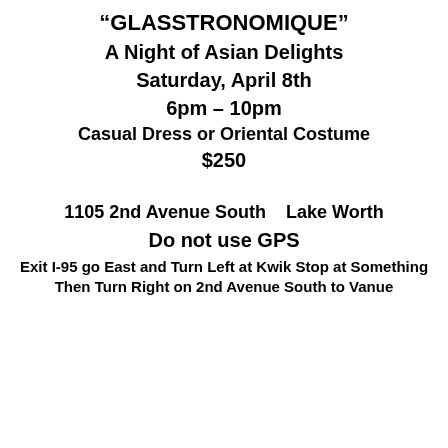“GLASSTRONOMIQUE”
A Night of Asian Delights
Saturday, April 8th
6pm – 10pm
Casual Dress or Oriental Costume
$250
1105 2nd Avenue South    Lake Wor…
Do not use GPS
Exit I-95 go East and Turn Left at Kwik Stop at S…
Then Turn Right on 2nd Avenue South to Va…